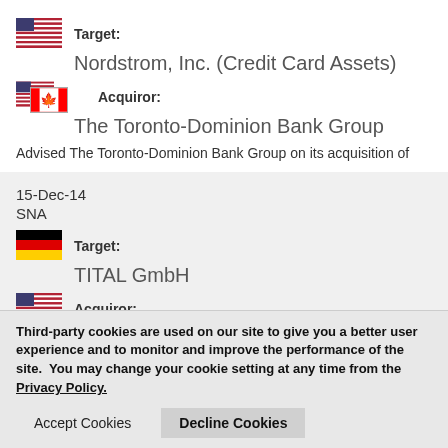Target: Nordstrom, Inc. (Credit Card Assets)
Acquiror: The Toronto-Dominion Bank Group
Advised The Toronto-Dominion Bank Group on its acquisition of
15-Dec-14
SNA
Target: TITAL GmbH
Acquiror: Alcoa Inc.
Advised Alcoa Inc. on the acquisition of TITAL GmbH, a privately-predominately for the aerospace and defense and markets
Third-party cookies are used on our site to give you a better user experience and to monitor and improve the performance of the site.  You may change your cookie setting at any time from the Privacy Policy.